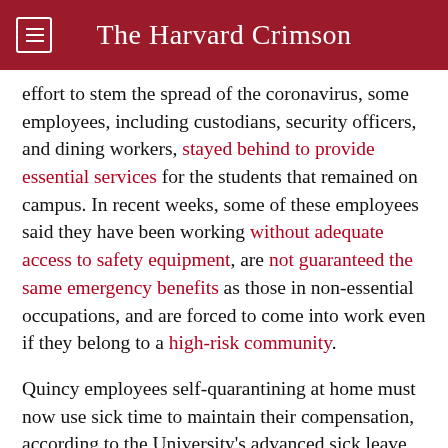The Harvard Crimson
effort to stem the spread of the coronavirus, some employees, including custodians, security officers, and dining workers, stayed behind to provide essential services for the students that remained on campus. In recent weeks, some of these employees said they have been working without adequate access to safety equipment, are not guaranteed the same emergency benefits as those in non-essential occupations, and are forced to come into work even if they belong to a high-risk community.
Quincy employees self-quarantining at home must now use sick time to maintain their compensation, according to the University's advanced sick leave policy. If workers want to take time off for COVID-19-related concerns, they must use their available sick days, and may take out a loan of 14 extra days that will be deducted from their sick time for next year.